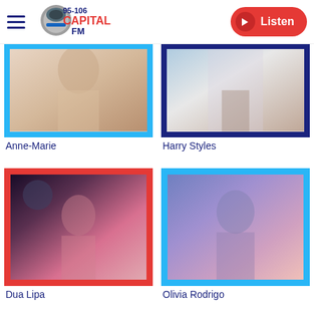[Figure (logo): Capital FM 95-106 logo with blue and grey microphone graphic]
[Figure (screenshot): Capital FM website artist grid showing Anne-Marie, Harry Styles, Dua Lipa, and Olivia Rodrigo artist cards with photos and coloured frames]
Anne-Marie
Harry Styles
Dua Lipa
Olivia Rodrigo